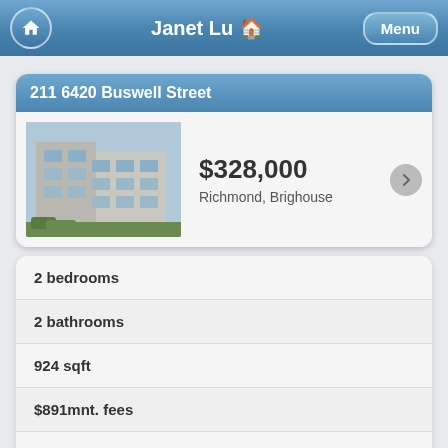Janet Lu 🏠
211 6420 Buswell Street
[Figure (photo): Exterior photo of a multi-story apartment building]
$328,000
Richmond, Brighouse
2 bedrooms
2 bathrooms
924 sqft
$891mnt. fees
built in 1972
$N/A taxes in 2021
Apartment